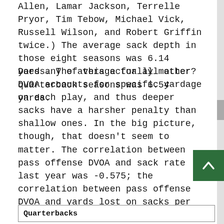Allen, Lamar Jackson, Terrelle Pryor, Tim Tebow, Michael Vick, Russell Wilson, and Robert Griffin twice.) The average sack depth in those eight seasons was 6.14 yards. The average for all other quarterback seasons was 6.54 yards.
Does any of this actually matter? DVOA accounts for specific yardage on each play, and thus deeper sacks have a harsher penalty than shallow ones. In the big picture, though, that doesn't seem to matter. The correlation between pass offense DVOA and sack rate last year was -0.575; the correlation between pass offense DVOA and yards lost on sacks per dropback was weaker at -0.527. And average sack depth was basically neutral at -0.029. Taking big sacks is bad, but it's better to avoid sacks entirely than to worry about about how close they come to the line of scrimmage.
| Quarterbacks |
| --- |